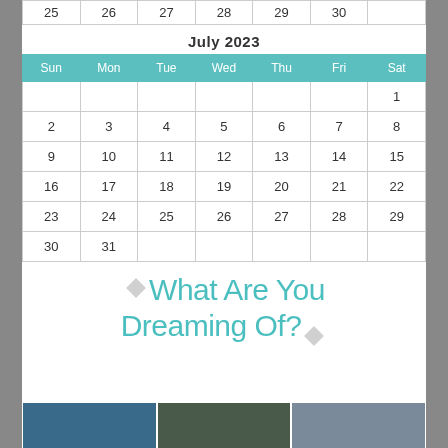| Sun | Mon | Tue | Wed | Thu | Fri | Sat |
| --- | --- | --- | --- | --- | --- | --- |
| 25 | 26 | 27 | 28 | 29 | 30 |  |
July 2023
| Sun | Mon | Tue | Wed | Thu | Fri | Sat |
| --- | --- | --- | --- | --- | --- | --- |
|  |  |  |  |  |  | 1 |
| 2 | 3 | 4 | 5 | 6 | 7 | 8 |
| 9 | 10 | 11 | 12 | 13 | 14 | 15 |
| 16 | 17 | 18 | 19 | 20 | 21 | 22 |
| 23 | 24 | 25 | 26 | 27 | 28 | 29 |
| 30 | 31 |  |  |  |  |  |
What Are You Dreaming Of?
[Figure (photo): Three photos at bottom of page]